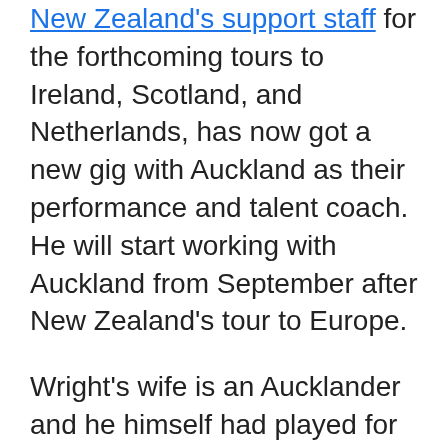New Zealand's support staff for the forthcoming tours to Ireland, Scotland, and Netherlands, has now got a new gig with Auckland as their performance and talent coach. He will start working with Auckland from September after New Zealand's tour to Europe.
Wright's wife is an Aucklander and he himself had played for Auckland in the 2013-14 and 2014-15 Super Smash tournaments, scoring 188 runs in ten innings and taking two wickets.
“I really enjoyed my time on the pitch with the team but it was the memories of how my family and I were treated that stood out,” Wright said...